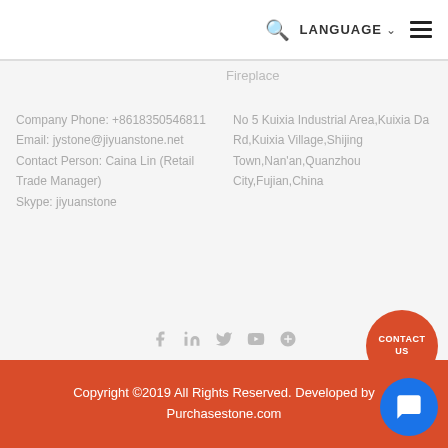LANGUAGE ☰
Fireplace
Company Phone: +8618350546811
Email: jystone@jiyuanstone.net
Contact Person: Caina Lin (Retail Trade Manager)
Skype: jiyuanstone
No 5 Kuixia Industrial Area,Kuixia Da Rd,Kuixia Village,Shijing Town,Nan'an,Quanzhou City,Fujian,China
[Figure (infographic): Social media icons: Facebook, LinkedIn, Twitter, YouTube, Google+]
CONTACT US
Copyright ©2019 All Rights Reserved. Developed by Purchasestone.com